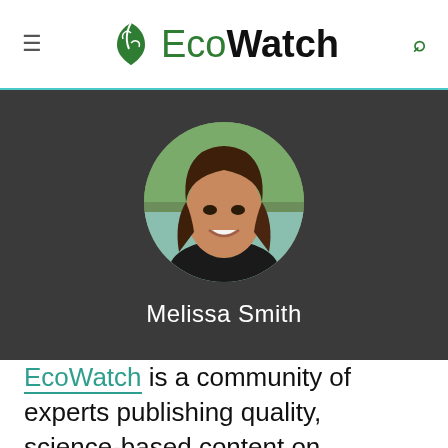EcoWatch
[Figure (photo): Circular profile photo of Melissa Smith, a woman with long brown hair smiling, outdoors with trees in background]
Melissa Smith
EcoWatch is a community of experts publishing quality, science-based content on environmental issues